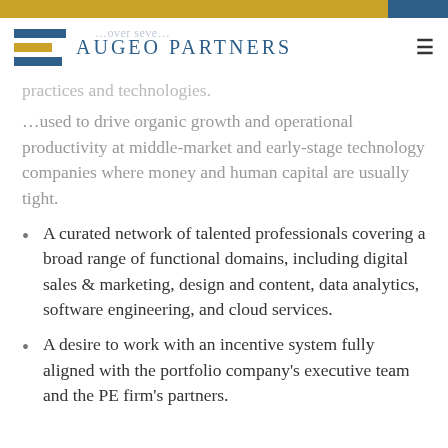Augeo Partners
practices and technologies. …used to drive organic growth and operational productivity at middle-market and early-stage technology companies where money and human capital are usually tight.
A curated network of talented professionals covering a broad range of functional domains, including digital sales & marketing, design and content, data analytics, software engineering, and cloud services.
A desire to work with an incentive system fully aligned with the portfolio company's executive team and the PE firm's partners.